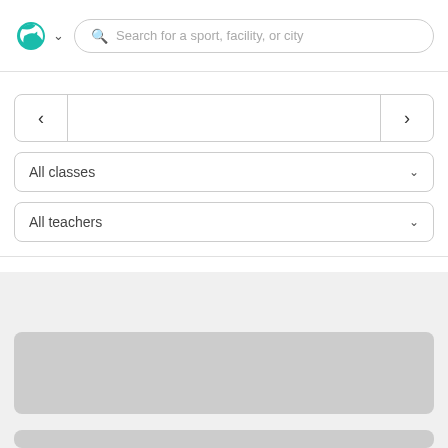[Figure (screenshot): App header with teal swirl logo, dropdown chevron, and rounded search bar with placeholder text 'Search for a sport, facility, or city']
[Figure (screenshot): Calendar navigation row with left arrow, empty center, and right arrow, bordered with rounded corners]
All classes
All teachers
[Figure (screenshot): Gray placeholder card (loading skeleton) in bottom content area]